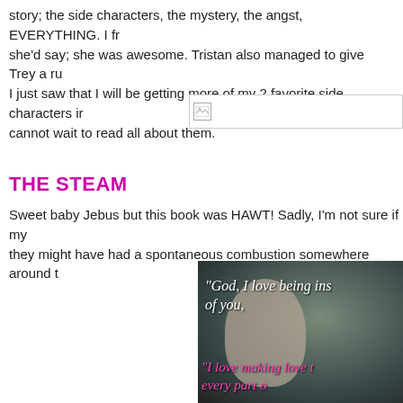story; the side characters, the mystery, the angst, EVERYTHING. I fr she'd say; she was awesome. Tristan also managed to give Trey a ru I just saw that I will be getting more of my 2 favorite side characters ir cannot wait to read all about them.
[Figure (other): Broken image placeholder with icon]
THE STEAM
Sweet baby Jebus but this book was HAWT! Sadly, I'm not sure if my they might have had a spontaneous combustion somewhere around t
[Figure (photo): Romantic photo with cursive text overlay: 'God, I love being ins of you,' and 'I love making love t every part o']